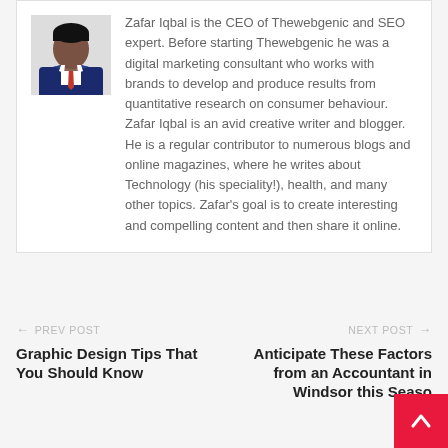[Figure (photo): Portrait photo of a man in a dark blue suit and red tie]
Zafar Iqbal is the CEO of Thewebgenic and SEO expert. Before starting Thewebgenic he was a digital marketing consultant who works with brands to develop and produce results from quantitative research on consumer behaviour. Zafar Iqbal is an avid creative writer and blogger. He is a regular contributor to numerous blogs and online magazines, where he writes about Technology (his speciality!), health, and many other topics. Zafar's goal is to create interesting and compelling content and then share it online.
← PREV POST
Graphic Design Tips That You Should Know
NEXT POST →
Anticipate These Factors from an Accountant in Windsor this Season